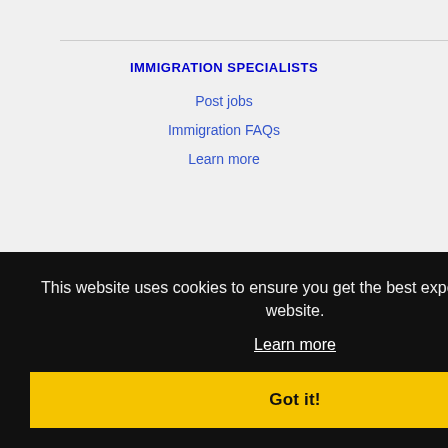IMMIGRATION SPECIALISTS
Post jobs
Immigration FAQs
Learn more
MORE
FAQ
Contact us
Privacy
This website uses cookies to ensure you get the best experience on our website.
Learn more
Got it!
NEARBY CITIES
Charleston, SC Jobs
Goose Creek, SC Jobs